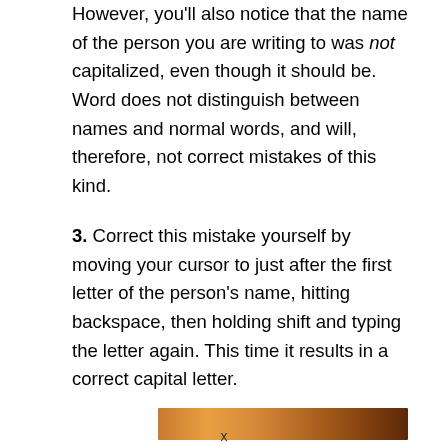However, you'll also notice that the name of the person you are writing to was not capitalized, even though it should be. Word does not distinguish between names and normal words, and will, therefore, not correct mistakes of this kind.
3. Correct this mistake yourself by moving your cursor to just after the first letter of the person's name, hitting backspace, then holding shift and typing the letter again. This time it results in a correct capital letter.
[Figure (photo): Partial photo visible at the bottom of the page, appears to show an outdoor scene with warm tones]
x